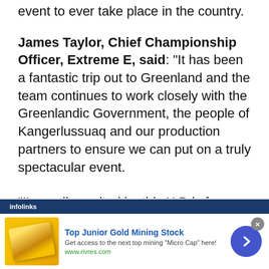event to ever take place in the country.
James Taylor, Chief Championship Officer, Extreme E, said: “It has been a fantastic trip out to Greenland and the team continues to work closely with the Greenlandic Government, the people of Kangerlussuaq and our production partners to ensure we can put on a truly spectacular event.
“I’m really excited by this X Prix for a variety of reasons: bringing the very first motorsport event to Greenland, working
[Figure (infographic): Infolinks advertisement banner: Top Junior Gold Mining Stock. Get access to the next top mining 'Micro Cap' here! www.rivres.com. Shows gold bars image and a blue circular arrow button. Close (x) button visible.]